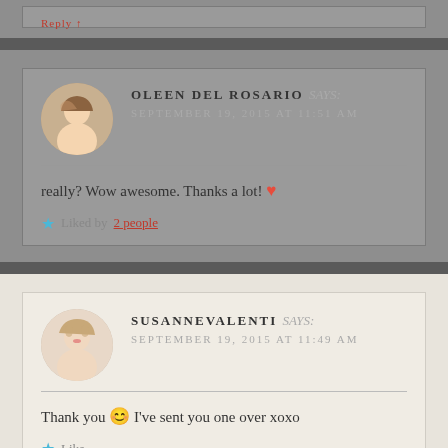OLEEN DEL ROSARIO says: SEPTEMBER 19, 2015 AT 11:51 AM
really? Wow awesome. Thanks a lot! ❤
★ Liked by 2 people
SUSANNEVALENTI says: SEPTEMBER 19, 2015 AT 11:49 AM
Thank you 😊 I've sent you one over xoxo
★ Like